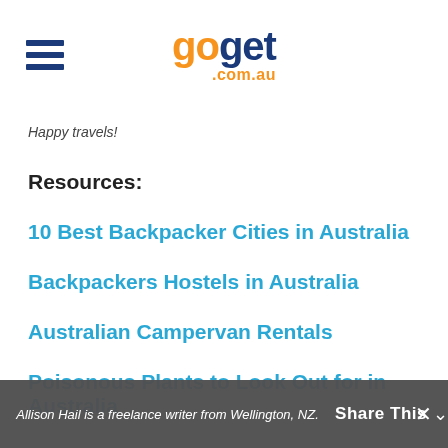goget .com.au
Happy travels!
Resources:
10 Best Backpacker Cities in Australia
Backpackers Hostels in Australia
Australian Campervan Rentals
Poisonous Plants to Look Out for in Australia
Allison Hail is a freelance writer from Wellington, NZ.   Share This ×